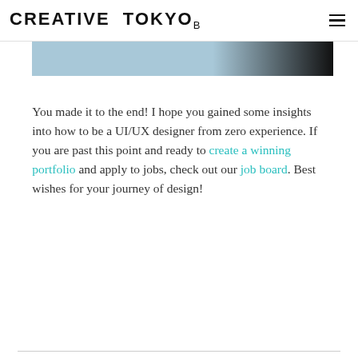CREATIVE TOKYO β
[Figure (photo): Partial view of a design workspace photo, cropped at the top of the content area, showing blue and dark tones.]
You made it to the end! I hope you gained some insights into how to be a UI/UX designer from zero experience. If you are past this point and ready to create a winning portfolio and apply to jobs, check out our job board. Best wishes for your journey of design!